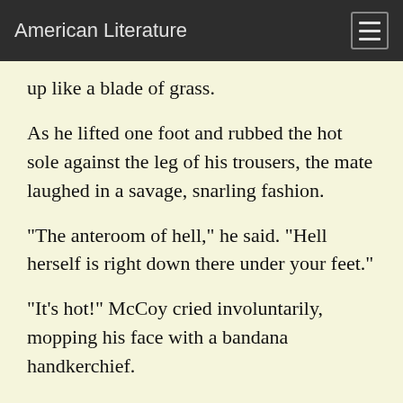American Literature
up like a blade of grass.
As he lifted one foot and rubbed the hot sole against the leg of his trousers, the mate laughed in a savage, snarling fashion.
"The anteroom of hell," he said. "Hell herself is right down there under your feet."
"It's hot!" McCoy cried involuntarily, mopping his face with a bandana handkerchief.
"Here's Mangareva," the captain said, bending over the table and pointing to a black speck in the midst of the white blankness of the chart. "And here, in